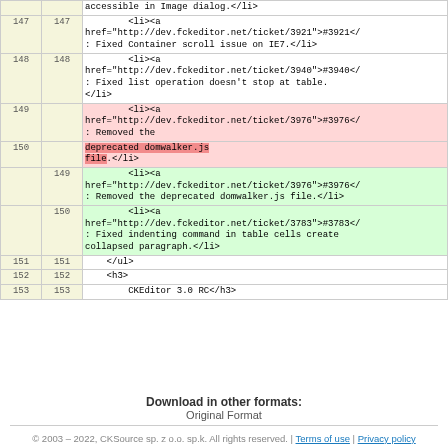|  |  | code |
| --- | --- | --- |
|  |  | accessible in Image dialog.</li> |
| 147 | 147 | <li><a href="http://dev.fckeditor.net/ticket/3921">#3921</: Fixed Container scroll issue on IE7.</li> |
| 148 | 148 | <li><a href="http://dev.fckeditor.net/ticket/3940">#3940</ : Fixed list operation doesn't stop at table.</li> |
| 149 |  | <li><a href="http://dev.fckeditor.net/ticket/3976">#3976</ : Removed the [DEL: deprecated domwalker.js file :DEL].</li> |
| 150 |  |  |
|  | 149 | <li><a href="http://dev.fckeditor.net/ticket/3976">#3976</ : Removed the deprecated domwalker.js file.</li> |
|  | 150 | <li><a href="http://dev.fckeditor.net/ticket/3783">#3783</ : Fixed indenting command in table cells create collapsed paragraph.</li> |
| 151 | 151 | </ul> |
| 152 | 152 | <h3> |
| 153 | 153 | CKEditor 3.0 RC</h3> |
Download in other formats:
Original Format
© 2003 – 2022, CKSource sp. z o.o. sp.k. All rights reserved. | Terms of use | Privacy policy